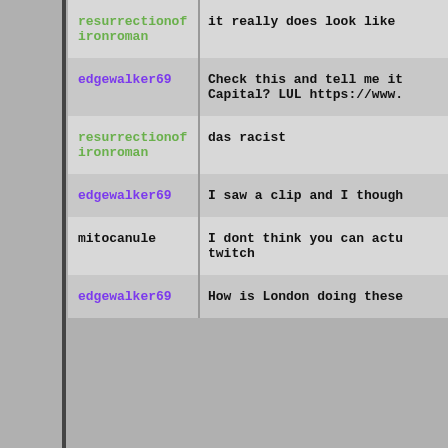resurrectionofironroman: it really does look like
edgewalker69: Check this and tell me it Capital? LUL https://www.
resurrectionofironroman: das racist
edgewalker69: I saw a clip and I though
mitocanule: I dont think you can actu twitch
edgewalker69: How is London doing these